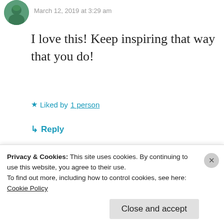[Figure (photo): Circular avatar photo of a person, partially cropped at top]
March 12, 2019 at 3:29 am
I love this! Keep inspiring that way that you do!
★ Liked by 1 person
↳ Reply
[Figure (photo): Circular avatar photo of a person in nested comment section]
Bobboll
Privacy & Cookies: This site uses cookies. By continuing to use this website, you agree to their use.
To find out more, including how to control cookies, see here: Cookie Policy
Close and accept